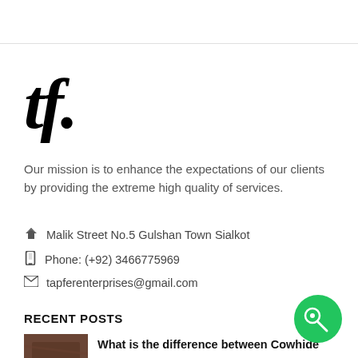[Figure (logo): Stylized 'tf.' logo in black serif font]
Our mission is to enhance the expectations of our clients by providing the extreme high quality of services.
Malik Street No.5 Gulshan Town Sialkot
Phone: (+92) 3466775969
tapferenterprises@gmail.com
RECENT POSTS
What is the difference between Cowhide
[Figure (photo): Thumbnail photo of a dark cowhide texture]
[Figure (other): Green circular chat/messenger button in bottom right corner]